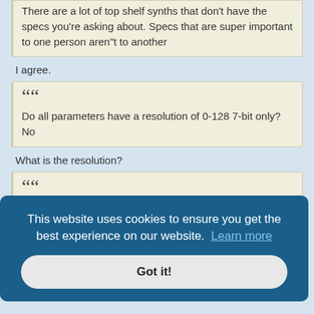There are a lot of top shelf synths that don't have the specs you're asking about. Specs that are super important to one person aren"t to another
I agree.
Do all parameters have a resolution of 0-128 7-bit only? No
What is the resolution?
(partial quote block visible)
This website uses cookies to ensure you get the best experience on our website. Learn more
Got it!